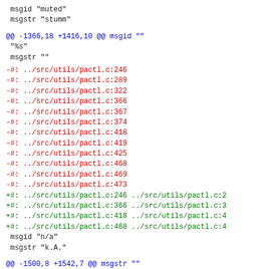msgid "muted"
 msgstr "stumm"
@@ -1366,18 +1416,10 @@ msgid ""
"%s"
 msgstr ""
-#: ../src/utils/pactl.c:246
-#: ../src/utils/pactl.c:289
-#: ../src/utils/pactl.c:322
-#: ../src/utils/pactl.c:366
-#: ../src/utils/pactl.c:367
-#: ../src/utils/pactl.c:374
-#: ../src/utils/pactl.c:418
-#: ../src/utils/pactl.c:419
-#: ../src/utils/pactl.c:425
-#: ../src/utils/pactl.c:468
-#: ../src/utils/pactl.c:469
-#: ../src/utils/pactl.c:473
+#: ../src/utils/pactl.c:246 ../src/utils/pactl.c:2
+#: ../src/utils/pactl.c:366 ../src/utils/pactl.c:3
+#: ../src/utils/pactl.c:418 ../src/utils/pactl.c:4
+#: ../src/utils/pactl.c:468 ../src/utils/pactl.c:4
msgid "n/a"
 msgstr "k.A."
@@ -1500,8 +1542,7 @@ msgstr ""
msgid "source"
 msgstr "Quelle"